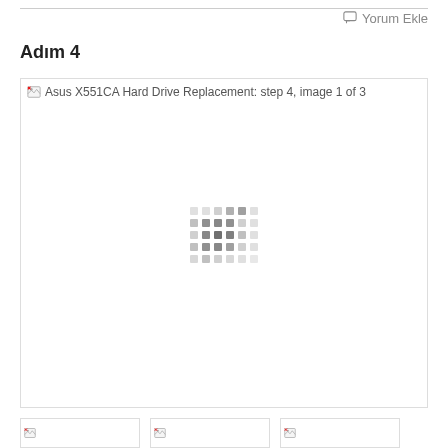Yorum Ekle
Adım 4
[Figure (photo): Asus X551CA Hard Drive Replacement: step 4, image 1 of 3 — image placeholder with loading indicator (broken/unloaded image)]
[Figure (photo): Thumbnail 1 — broken image placeholder]
[Figure (photo): Thumbnail 2 — broken image placeholder]
[Figure (photo): Thumbnail 3 — broken image placeholder]